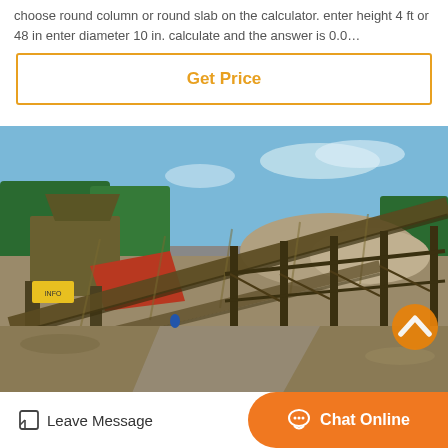choose round column or round slab on the calculator. enter height 4 ft or 48 in enter diameter 10 in. calculate and the answer is 0.0…
Get Price
[Figure (photo): Outdoor industrial aggregate crushing and conveyor belt facility with machinery, red hopper, conveyor belts on metal framework, gravel piles, blue sky and trees in background.]
Leave Message
Chat Online